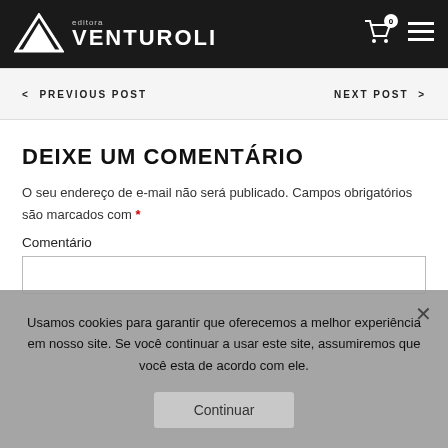Editora VENTUROLI
< PREVIOUS POST    NEXT POST >
DEIXE UM COMENTÁRIO
O seu endereço de e-mail não será publicado. Campos obrigatórios são marcados com *
Comentário
Usamos cookies para garantir que oferecemos a melhor experiência em nosso site. Se você continuar a usar este site, assumiremos que você esta de acordo com ele.
Continuar